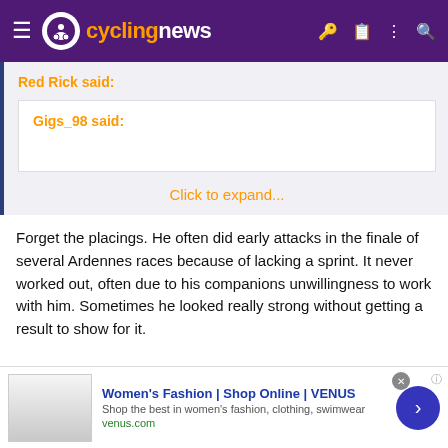cyclingnews
Red Rick said:
Gigs_98 said:
Click to expand...
Forget the placings. He often did early attacks in the finale of several Ardennes races because of lacking a sprint. It never worked out, often due to his companions unwillingness to work with him. Sometimes he looked really strong without getting a result to show for it.
[Figure (screenshot): Advertisement banner for Women's Fashion | Shop Online | VENUS with text: Shop the best in women's fashion, clothing, swimwear. venus.com]